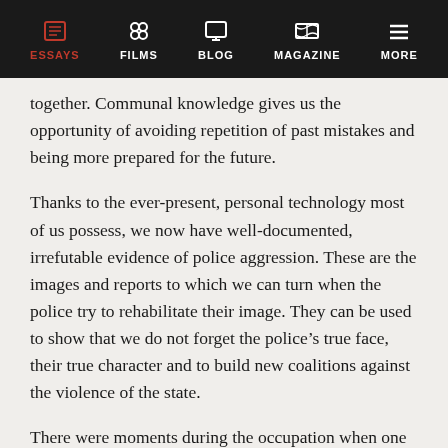ESSAYS | FILMS | BLOG | MAGAZINE | MORE
together. Communal knowledge gives us the opportunity of avoiding repetition of past mistakes and being more prepared for the future.
Thanks to the ever-present, personal technology most of us possess, we now have well-documented, irrefutable evidence of police aggression. These are the images and reports to which we can turn when the police try to rehabilitate their image. They can be used to show that we do not forget the police’s true face, their true character and to build new coalitions against the violence of the state.
There were moments during the occupation when one could see the earliest stages of a democratic confederalist or libertarian municipalist model were being practiced. Occupiers were able to set up food distribution, direct action, healthcare, collect and distribute essential supplies and products staffed former † thirds the essence that is in